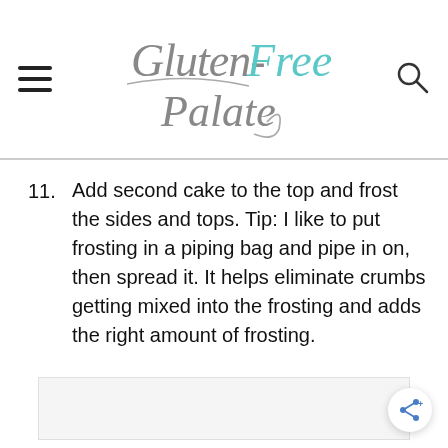Gluten-Free Palate
11. Add second cake to the top and frost the sides and tops. Tip: I like to put frosting in a piping bag and pipe in on, then spread it. It helps eliminate crumbs getting mixed into the frosting and adds the right amount of frosting.
[Figure (other): Advertisement or placeholder image block]